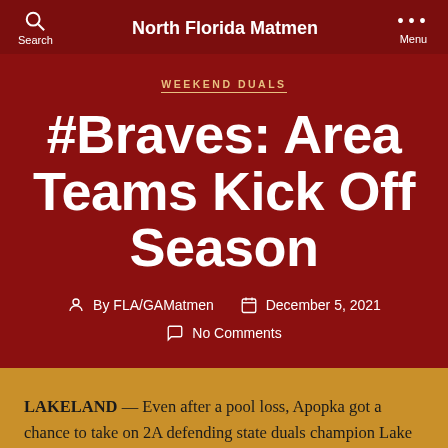North Florida Matmen
WEEKEND DUALS
#Braves: Area Teams Kick Off Season
By FLA/GAMatmen   December 5, 2021   No Comments
LAKELAND — Even after a pool loss, Apopka got a chance to take on 2A defending state duals champion Lake Gibson in the finals of the